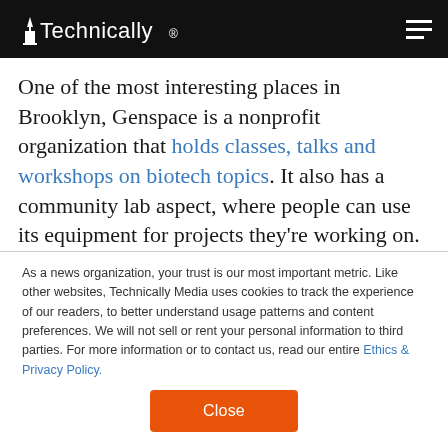Technically
One of the most interesting places in Brooklyn, Genspace is a nonprofit organization that holds classes, talks and workshops on biotech topics. It also has a community lab aspect, where people can use its equipment for projects they're working on.
As a news organization, your trust is our most important metric. Like other websites, Technically Media uses cookies to track the experience of our readers, to better understand usage patterns and content preferences. We will not sell or rent your personal information to third parties. For more information or to contact us, read our entire Ethics & Privacy Policy.
Close